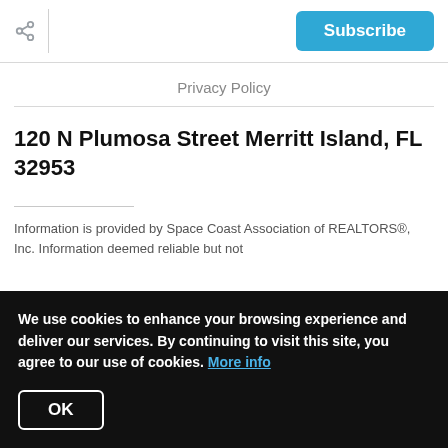Subscribe
Privacy Policy
120 N Plumosa Street Merritt Island, FL 32953
Information is provided by Space Coast Association of REALTORS®, Inc. Information deemed reliable but not
We use cookies to enhance your browsing experience and deliver our services. By continuing to visit this site, you agree to our use of cookies. More info
OK